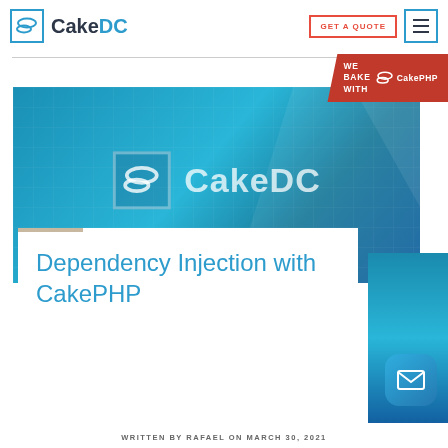[Figure (logo): CakeDC logo with stylized cake icon in blue square border and bold CakeDC text]
GET A QUOTE
[Figure (infographic): WE BAKE WITH CakePHP banner in red]
[Figure (photo): CakeDC hero banner with teal/blue gradient background featuring CakeDC logo]
Dependency Injection with CakePHP
WRITTEN BY RAFAEL ON MARCH 30, 2021